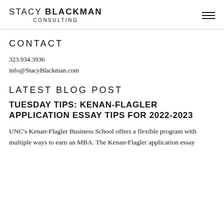STACY BLACKMAN CONSULTING
CONTACT
323.934.3936
info@StacyBlackman.com
LATEST BLOG POST
TUESDAY TIPS: KENAN-FLAGLER APPLICATION ESSAY TIPS FOR 2022-2023
UNC's Kenan-Flagler Business School offers a flexible program with multiple ways to earn an MBA. The Kenan-Flagler application essay